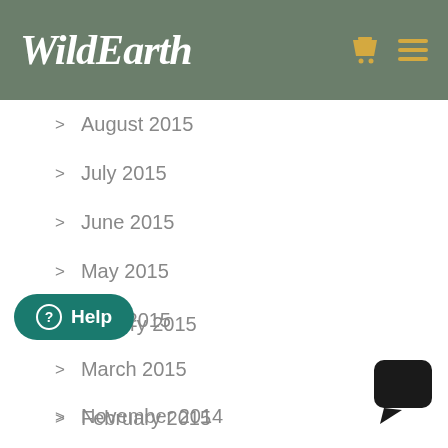WildEarth
> August 2015
> July 2015
> June 2015
> May 2015
> April 2015
> March 2015
> February 2015
> January 2015
> November 2014